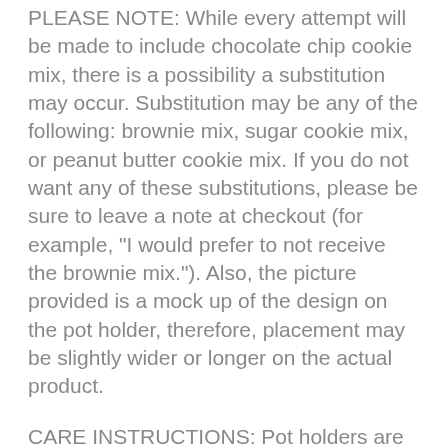PLEASE NOTE: While every attempt will be made to include chocolate chip cookie mix, there is a possibility a substitution may occur. Substitution may be any of the following: brownie mix, sugar cookie mix, or peanut butter cookie mix. If you do not want any of these substitutions, please be sure to leave a note at checkout (for example, "I would prefer to not receive the brownie mix."). Also, the picture provided is a mock up of the design on the pot holder, therefore, placement may be slightly wider or longer on the actual product.
CARE INSTRUCTIONS: Pot holders are recommended for decorative purposes ONLY but can be used for cooking by using the side that is rubber (the side that DOES NOT have the saying on it). Cooke mix and double-sided spatula can be used as normal.
Before purchasing, please be sure to read the Care